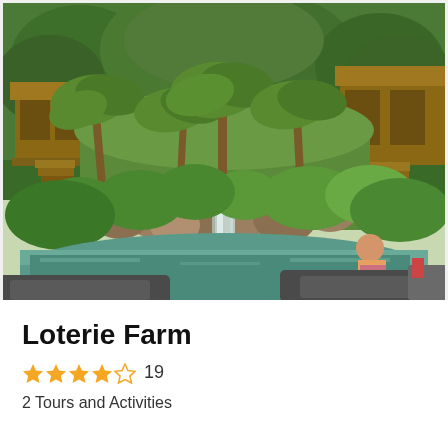[Figure (photo): Tropical resort pool with waterfall feature, large boulders, lush green palm trees and tropical plants, wooden bungalow structures on hillside, lounge chairs in foreground, person sitting at pool edge]
Loterie Farm
★★★★☆ 19
2 Tours and Activities